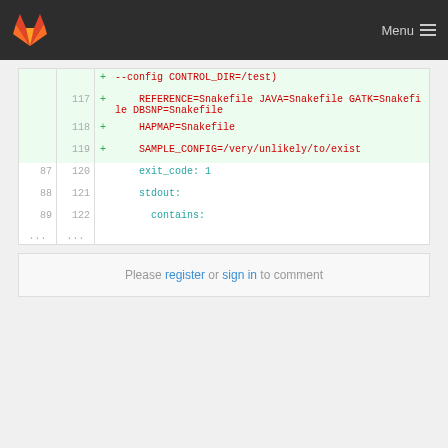[Figure (screenshot): GitLab navigation bar with logo and Menu button]
--config CONTROL_DIR=/test) REFERENCE=Snakefile JAVA=Snakefile GATK=Snakefile DBSNP=Snakefile ONETHOUSAND=Snakefile HAPMAP=Snakefile SAMPLE_CONFIG=/very/unlikely/to/exist
exit_code: 1
stdout:
    contains:
Please register or sign in to comment